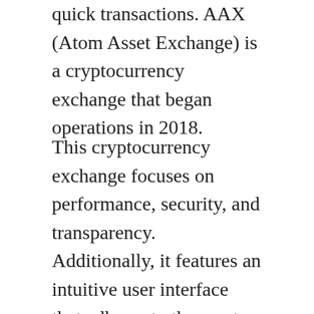quick transactions. AAX (Atom Asset Exchange) is a cryptocurrency exchange that began operations in 2018.
This cryptocurrency exchange focuses on performance, security, and transparency. Additionally, it features an intuitive user interface that adheres to the most stringent security standards. Additionally, it offers mobile trading software that enables traders to trade on the go.
ATOM International Technology Private Limited, a major global fintech business with locations in Europe, North America, and Asia, operates the AAX exchange. Explore the AAX review to learn about the disadvantages of this broker service and to provide